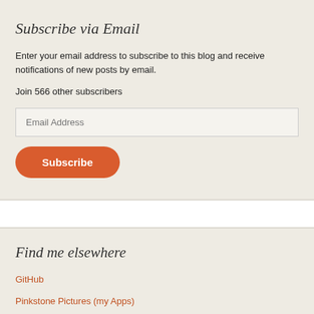Subscribe via Email
Enter your email address to subscribe to this blog and receive notifications of new posts by email.
Join 566 other subscribers
Find me elsewhere
GitHub
Pinkstone Pictures (my Apps)